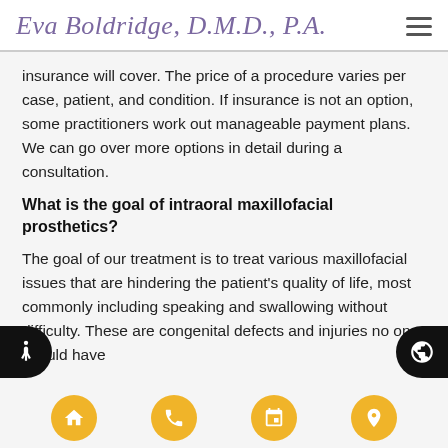Eva Boldridge, D.M.D., P.A.
insurance will cover. The price of a procedure varies per case, patient, and condition. If insurance is not an option, some practitioners work out manageable payment plans. We can go over more options in detail during a consultation.
What is the goal of intraoral maxillofacial prosthetics?
The goal of our treatment is to treat various maxillofacial issues that are hindering the patient's quality of life, most commonly including speaking and swallowing without difficulty. These are congenital defects and injuries no one should have